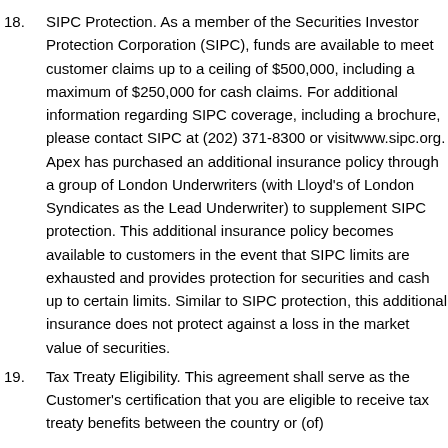18. SIPC Protection. As a member of the Securities Investor Protection Corporation (SIPC), funds are available to meet customer claims up to a ceiling of $500,000, including a maximum of $250,000 for cash claims. For additional information regarding SIPC coverage, including a brochure, please contact SIPC at (202) 371-8300 or visitwww.sipc.org. Apex has purchased an additional insurance policy through a group of London Underwriters (with Lloyd's of London Syndicates as the Lead Underwriter) to supplement SIPC protection. This additional insurance policy becomes available to customers in the event that SIPC limits are exhausted and provides protection for securities and cash up to certain limits. Similar to SIPC protection, this additional insurance does not protect against a loss in the market value of securities.
19. Tax Treaty Eligibility. This agreement shall serve as the Customer's certification that you are eligible to receive tax treaty benefits between the country or (of)